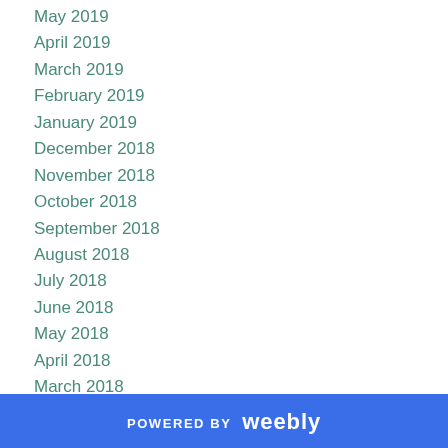May 2019
April 2019
March 2019
February 2019
January 2019
December 2018
November 2018
October 2018
September 2018
August 2018
July 2018
June 2018
May 2018
April 2018
March 2018
February 2018
January 2018
December 2017
November 2017
September 2017
POWERED BY weebly